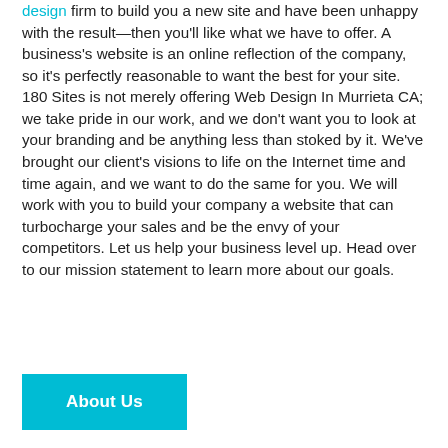design firm to build you a new site and have been unhappy with the result—then you'll like what we have to offer. A business's website is an online reflection of the company, so it's perfectly reasonable to want the best for your site. 180 Sites is not merely offering Web Design In Murrieta CA; we take pride in our work, and we don't want you to look at your branding and be anything less than stoked by it. We've brought our client's visions to life on the Internet time and time again, and we want to do the same for you. We will work with you to build your company a website that can turbocharge your sales and be the envy of your competitors. Let us help your business level up. Head over to our mission statement to learn more about our goals.
About Us